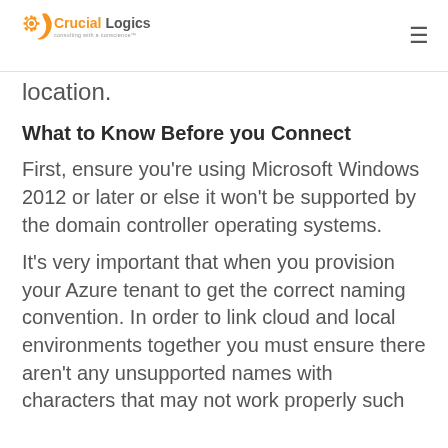CrucialLogics — consulting with a conscience™
location.
What to Know Before you Connect
First, ensure you're using Microsoft Windows 2012 or later or else it won't be supported by the domain controller operating systems.
It's very important that when you provision your Azure tenant to get the correct naming convention. In order to link cloud and local environments together you must ensure there aren't any unsupported names with characters that may not work properly such